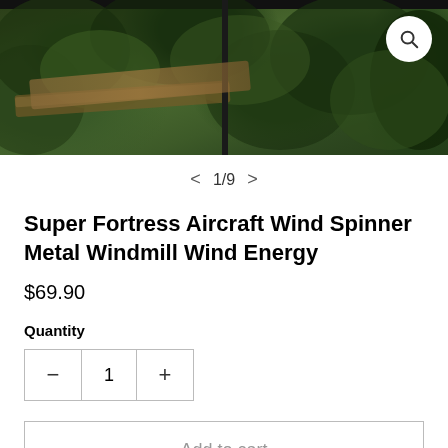[Figure (photo): Outdoor photo showing lush green foliage/vegetation with a wooden plank visible and a vertical dark pole in the center. A white circular search icon is in the top-right corner.]
< 1/9 >
Super Fortress Aircraft Wind Spinner Metal Windmill Wind Energy
$69.90
Quantity
− 1 +
Add to cart
Buy now